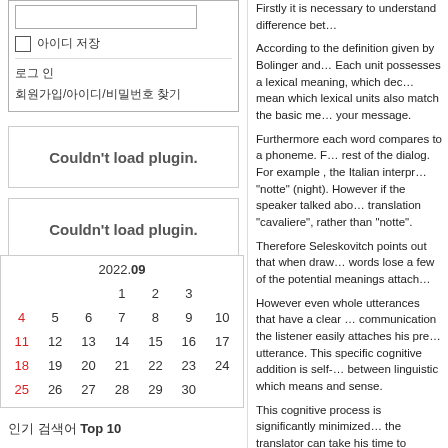[Figure (screenshot): UI widget with text input field, checkbox with Korean label, and two Korean menu rows]
Couldn't load plugin.
Couldn't load plugin.
|  |  |  | 1 | 2 | 3 |
| --- | --- | --- | --- | --- | --- |
| 4 | 5 | 6 | 7 | 8 | 9 | 10 |
| 11 | 12 | 13 | 14 | 15 | 16 | 17 |
| 18 | 19 | 20 | 21 | 22 | 23 | 24 |
| 25 | 26 | 27 | 28 | 29 | 30 |  |
인기 검색어 Top 10
Firstly it is necessary to understand difference be...
According to the definition given by Bolinger and... Each unit possesses a lexical meaning, which dec... mean which lexical units also match the basic me... your message.
Furthermore each word compares to a phoneme. D... rest of the dialog. For example , the Italian interpr... "notte" (night). However if the speaker talked abo... translation "cavaliere", rather than "notte".
Therefore Seleskovitch points out that when draw... words lose a few of the potential meanings attach...
However even whole utterances that have a clear ... communication the listener easily attaches his pre... utterance. This specific cognitive addition is self-... between linguistic which means and sense.
This cognitive process is significantly minimized... the translator can take his time to analyze every si... Interpreters instead usually are restricted by the i... the word-level.